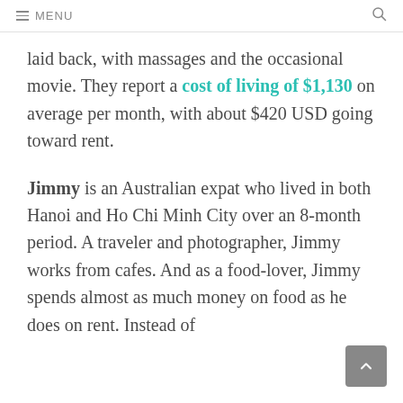≡ MENU
laid back, with massages and the occasional movie. They report a cost of living of $1,130 on average per month, with about $420 USD going toward rent.
Jimmy is an Australian expat who lived in both Hanoi and Ho Chi Minh City over an 8-month period. A traveler and photographer, Jimmy works from cafes. And as a food-lover, Jimmy spends almost as much money on food as he does on rent. Instead of